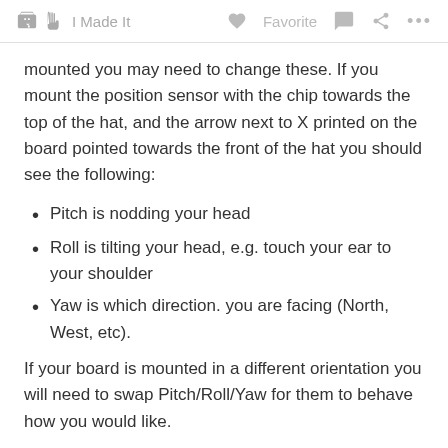I Made It   Favorite   ...
mounted you may need to change these. If you mount the position sensor with the chip towards the top of the hat, and the arrow next to X printed on the board pointed towards the front of the hat you should see the following:
Pitch is nodding your head
Roll is tilting your head, e.g. touch your ear to your shoulder
Yaw is which direction. you are facing (North, West, etc).
If your board is mounted in a different orientation you will need to swap Pitch/Roll/Yaw for them to behave how you would like.